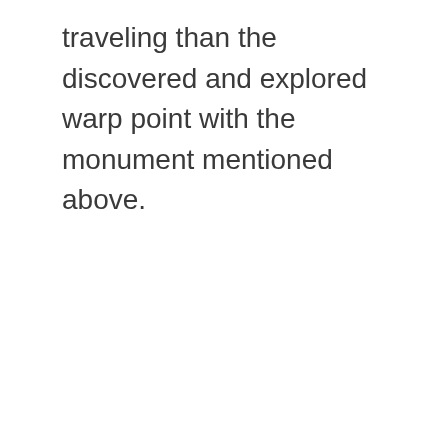traveling than the discovered and explored warp point with the monument mentioned above.